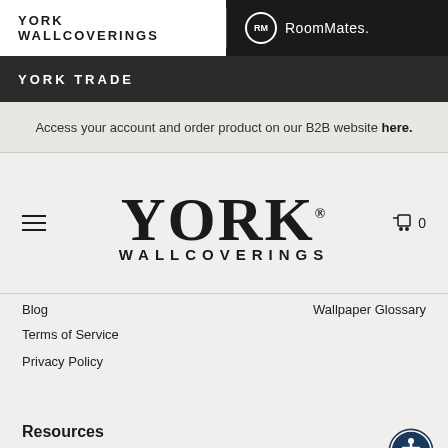YORK WALLCOVERINGS | RoomMates.
YORK TRADE
Access your account and order product on our B2B website here.
[Figure (logo): York Wallcoverings logo with hamburger menu icon and cart icon showing 0]
Blog
Wallpaper Glossary
Terms of Service
Privacy Policy
Resources
Wallpaper Samples